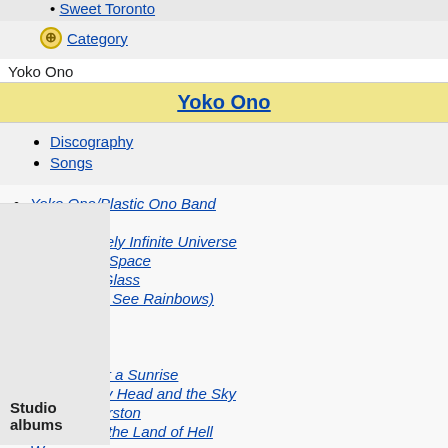Sweet Toronto
Category
Yoko Ono
Yoko Ono
Discography
Songs
Yoko Ono/Plastic Ono Band
Fly
Approximately Infinite Universe
Feeling the Space
Season of Glass
It's Alright (I See Rainbows)
Starpeace
Rising
A Story
Blueprint for a Sunrise
Between My Head and the Sky
Yokokimthurston
Take Me to the Land of Hell
Warzone
Studio albums
Unfinished Music No. 1: Two